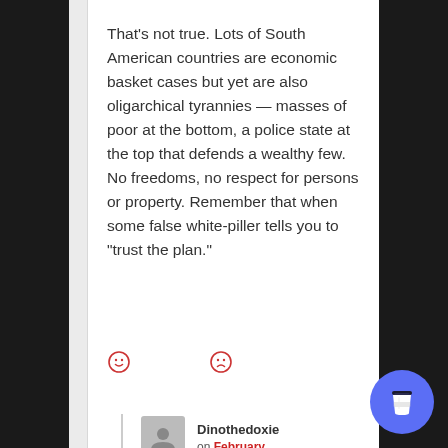That's not true. Lots of South American countries are economic basket cases but yet are also oligarchical tyrannies — masses of poor at the bottom, a police state at the top that defends a wealthy few. No freedoms, no respect for persons or property. Remember that when some false white-piller tells you to “trust the plan.”
[Figure (other): Two reaction emoji icons: a smiley face and a sad face, both outlined in red/orange]
Dinothedoxie on February